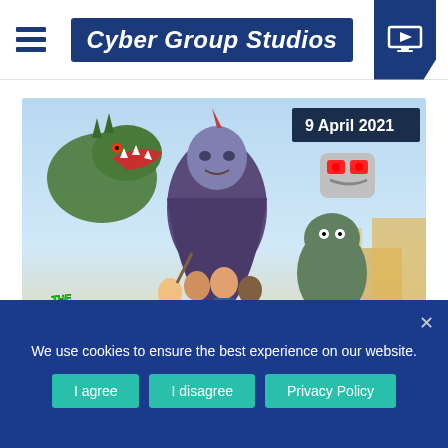Cyber Group Studios
[Figure (illustration): Animated show promotional image for 'The Last Kids on Earth and the Staff of Doom' showing cartoon characters and monsters. Date badge reads 9 April 2021.]
We use cookies to ensure the best experience on our website.
I agree
I disagree
Privacy Policy